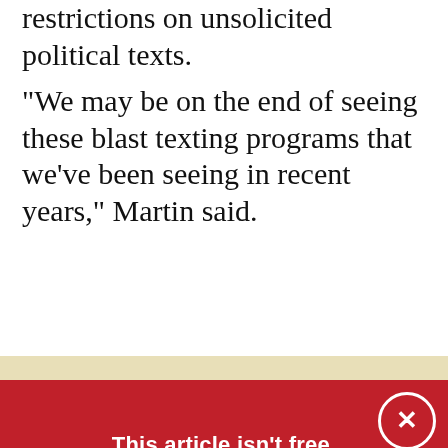restrictions on unsolicited political texts.
“We may be on the end of seeing these blast texting programs that we’ve been seeing in recent years,” Martin said.
[Figure (infographic): Red donation modal overlay on article page with close button (X), title 'This article isn't free.', body text about MinnPost nonprofit journalism, and a yellow 'DONATE NOW' button with heart icon.]